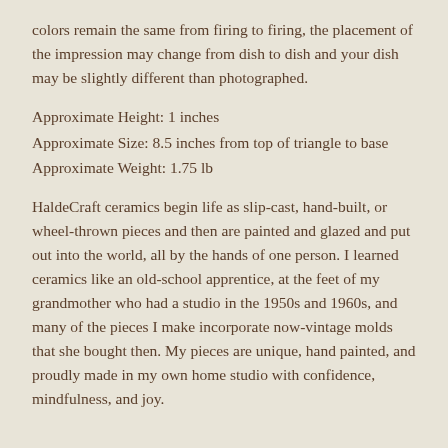colors remain the same from firing to firing, the placement of the impression may change from dish to dish and your dish may be slightly different than photographed.
Approximate Height: 1 inches
Approximate Size: 8.5 inches from top of triangle to base
Approximate Weight: 1.75 lb
HaldeCraft ceramics begin life as slip-cast, hand-built, or wheel-thrown pieces and then are painted and glazed and put out into the world, all by the hands of one person. I learned ceramics like an old-school apprentice, at the feet of my grandmother who had a studio in the 1950s and 1960s, and many of the pieces I make incorporate now-vintage molds that she bought then. My pieces are unique, hand painted, and proudly made in my own home studio with confidence, mindfulness, and joy.